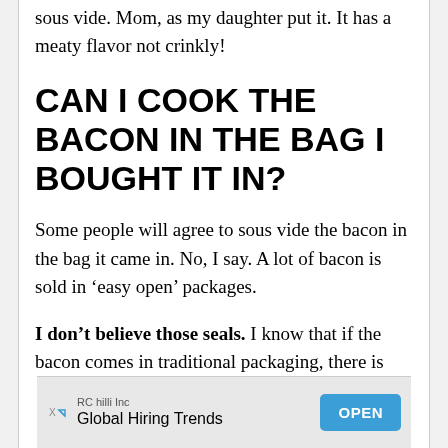sous vide. Mom, as my daughter put it. It has a meaty flavor not crinkly!
CAN I COOK THE BACON IN THE BAG I BOUGHT IT IN?
Some people will agree to sous vide the bacon in the bag it came in. No, I say. A lot of bacon is sold in ‘easy open’ packages.
I don’t believe those seals. I know that if the bacon comes in traditional packaging, there is
[Figure (other): Advertisement banner for RC hilli Inc - Global Hiring Trends with an OPEN button]